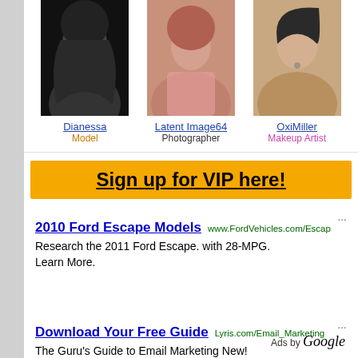[Figure (photo): Three portrait photos of Dianessa (Model), Latent Image64 (Photographer), OxiMiller (Makeup Artist)]
Dianessa
Model
Latent Image64
Photographer
OxiMiller
Makeup Artist
Sign up for VIP here!
2010 Ford Escape Models www.FordVehicles.com/Escap
Research the 2011 Ford Escape. with 28-MPG. Learn More.
Download Your Free Guide Lyris.com/Email_Marketing
The Guru's Guide to Email Marketing New! Recently Updated for 2010-11.
Ads by Google